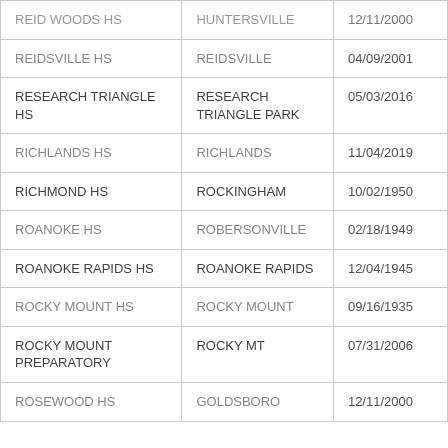| School Name | City | Date |
| --- | --- | --- |
| REID WOODS HS | HUNTERSVILLE | 12/11/2000 |
| REIDSVILLE HS | REIDSVILLE | 04/09/2001 |
| RESEARCH TRIANGLE HS | RESEARCH TRIANGLE PARK | 05/03/2016 |
| RICHLANDS HS | RICHLANDS | 11/04/2019 |
| RICHMOND HS | ROCKINGHAM | 10/02/1950 |
| ROANOKE HS | ROBERSONVILLE | 02/18/1949 |
| ROANOKE RAPIDS HS | ROANOKE RAPIDS | 12/04/1945 |
| ROCKY MOUNT HS | ROCKY MOUNT | 09/16/1935 |
| ROCKY MOUNT PREPARATORY | ROCKY MT | 07/31/2006 |
| ROSEWOOD HS | GOLDSBORO | 12/11/2000 |